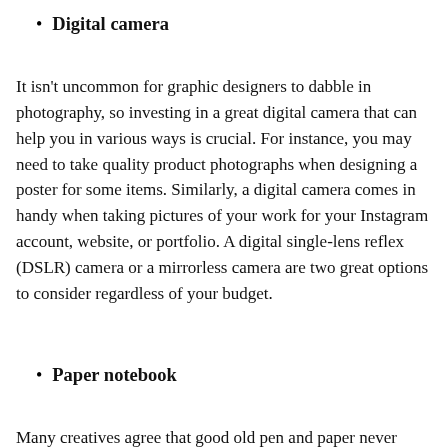Digital camera
It isn't uncommon for graphic designers to dabble in photography, so investing in a great digital camera that can help you in various ways is crucial. For instance, you may need to take quality product photographs when designing a poster for some items. Similarly, a digital camera comes in handy when taking pictures of your work for your Instagram account, website, or portfolio. A digital single-lens reflex (DSLR) camera or a mirrorless camera are two great options to consider regardless of your budget.
Paper notebook
Many creatives agree that good old pen and paper never goes out